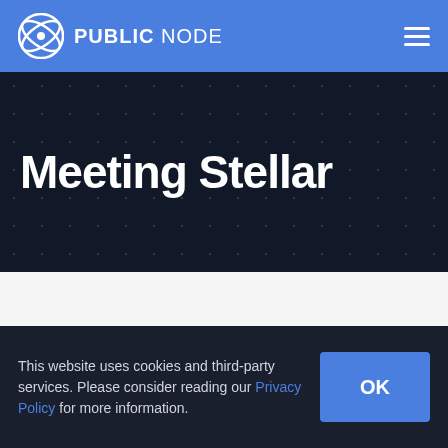PUBLIC NODE
Meeting Stellar
[Figure (illustration): Abstract digital illustration with purple and white geometric shapes, network nodes, and glowing light effects on a dark background]
This website uses cookies and third-party services. Please consider reading our Privacy Policy for more information.